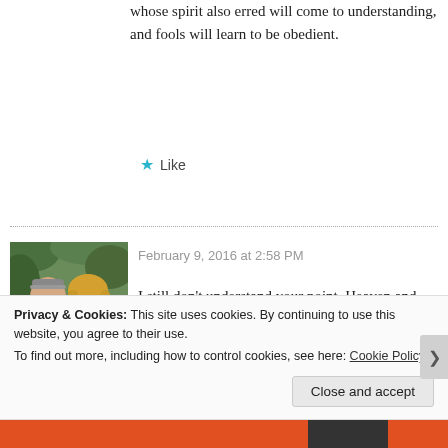whose spirit also erred will come to understanding, and fools will learn to be obedient.
★ Like
February 9, 2016 at 2:58 PM
[Figure (photo): Profile photo of a couple, man in blue plaid shirt and woman with blonde hair, outdoors with green foliage background]
★ Sola Scriptura
I still don't understand your point. Heaven and earth will pass away...but his word will never, ever pass away. Thus, I reject all versions edited by
Privacy & Cookies: This site uses cookies. By continuing to use this website, you agree to their use. To find out more, including how to control cookies, see here: Cookie Policy
Close and accept